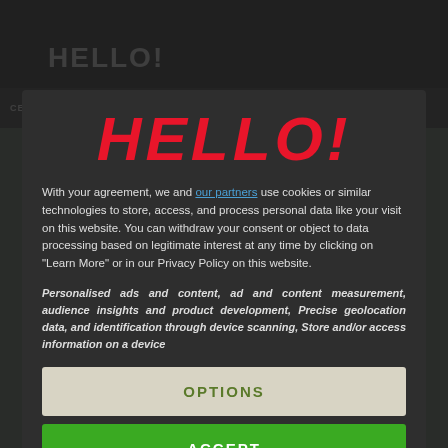[Figure (screenshot): Background showing Hello! magazine website with dark overlay. Top navigation bar with HELLO! logo, CELEBRITIES, HOMES, FOOD nav items, and breadcrumb showing Royalty.]
[Figure (logo): Large red italic HELLO! logo centered in the modal dialog]
With your agreement, we and our partners use cookies or similar technologies to store, access, and process personal data like your visit on this website. You can withdraw your consent or object to data processing based on legitimate interest at any time by clicking on "Learn More" or in our Privacy Policy on this website.
Personalised ads and content, ad and content measurement, audience insights and product development, Precise geolocation data, and identification through device scanning, Store and/or access information on a device
OPTIONS
ACCEPT